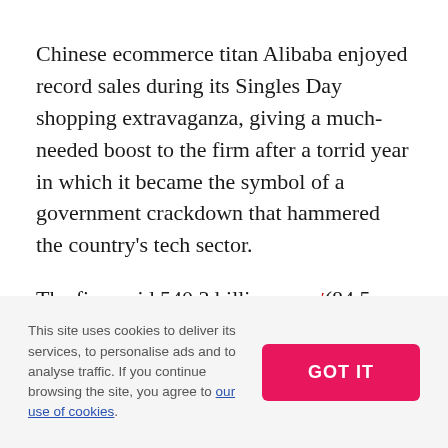Chinese ecommerce titan Alibaba enjoyed record sales during its Singles Day shopping extravaganza, giving a much-needed boost to the firm after a torrid year in which it became the symbol of a government crackdown that hammered the country's tech sector.
The firm said 540.3 billion yuan (84.5 billion dollars) was spent as China's army of consumers went on a splurge, despite a much lower-key sales campaign following pressure from the government to tone down the aggressive
This site uses cookies to deliver its services, to personalise ads and to analyse traffic. If you continue browsing the site, you agree to our use of cookies.